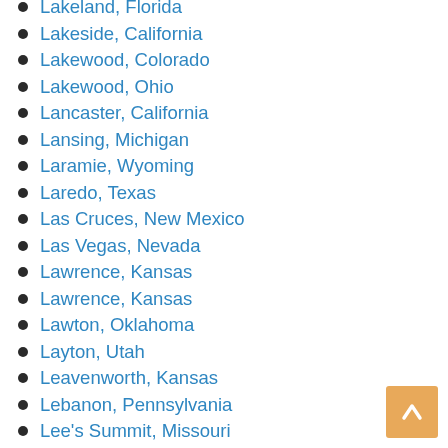Lakeland, Florida
Lakeside, California
Lakewood, Colorado
Lakewood, Ohio
Lancaster, California
Lansing, Michigan
Laramie, Wyoming
Laredo, Texas
Las Cruces, New Mexico
Las Vegas, Nevada
Lawrence, Kansas
Lawrence, Kansas
Lawton, Oklahoma
Layton, Utah
Leavenworth, Kansas
Lebanon, Pennsylvania
Lee's Summit, Missouri
Lewiston, Idaho
Lewiston, Maine